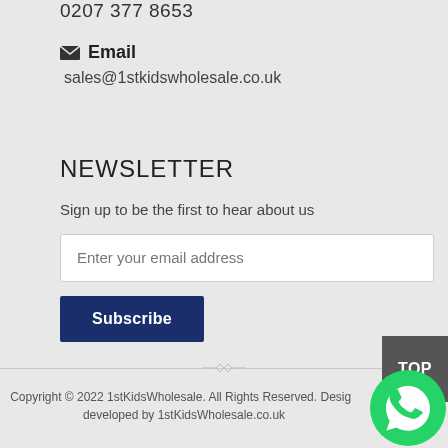0207 377 8653
Email
sales@1stkidswholesale.co.uk
NEWSLETTER
Sign up to be the first to hear about us
Enter your email address
Subscribe
TOP
Copyright © 2022 1stKidsWholesale. All Rights Reserved. Design developed by 1stKidsWholesale.co.uk